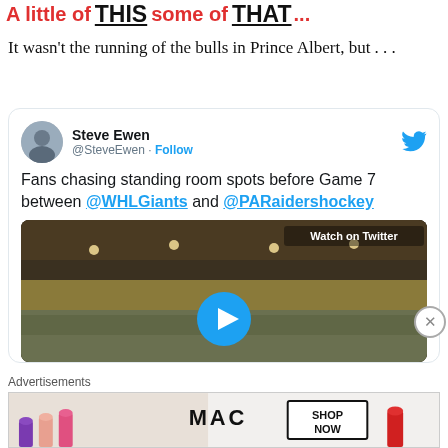A little of THIS some of THAT...
It wasn't the running of the bulls in Prince Albert, but . . .
[Figure (screenshot): Embedded tweet from @SteveEwen showing: 'Fans chasing standing room spots before Game 7 between @WHLGiants and @PARaidershockey' with a video thumbnail of an arena labeled 'Watch on Twitter' and a play button.]
Advertisements
[Figure (photo): MAC cosmetics advertisement with lipstick products and 'SHOP NOW' text.]